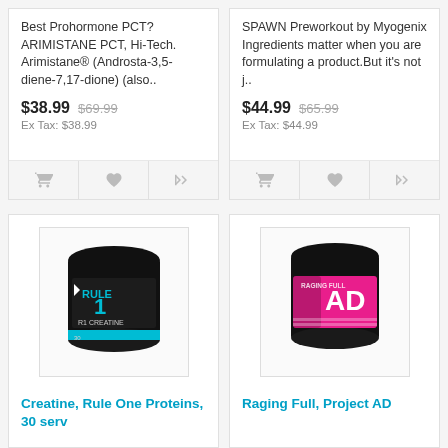Best Prohormone PCT? ARIMISTANE PCT, Hi-Tech. Arimistane® (Androsta-3,5-diene-7,17-dione) (also..
$38.99  $69.99
Ex Tax: $38.99
SPAWN Preworkout by Myogenix Ingredients matter when you are formulating a product.But it's not j..
$44.99  $65.99
Ex Tax: $44.99
[Figure (photo): Black tub of Rule 1 R1 Creatine, 30 servings]
Creatine, Rule One Proteins, 30 serv
[Figure (photo): Black tub with pink label of Raging Full by Project AD]
Raging Full, Project AD